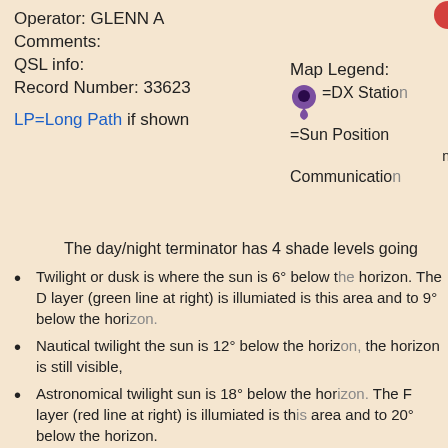Operator: GLENN A
Comments:
QSL info:
Record Number: 33623
LP=Long Path if shown
Map Legend:
[pin icon] =DX Station
=Sun Position
Communication
The day/night terminator has 4 shade levels going
Twilight or dusk is where the sun is 6° below the horizon. The D layer (green line at right) is illumiated is this area and to 9° below the horizon.
Nautical twilight the sun is 12° below the horizon, the horizon is still visible,
Astronomical twilight sun is 18° below the horizon. The F layer (red line at right) is illumiated is this area and to 20° below the horizon.
Night